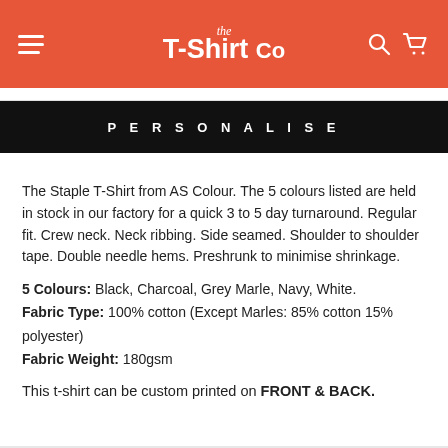the T-Shirt Co
PERSONALISE
The Staple T-Shirt from AS Colour. The 5 colours listed are held in stock in our factory for a quick 3 to 5 day turnaround. Regular fit. Crew neck. Neck ribbing. Side seamed. Shoulder to shoulder tape. Double needle hems. Preshrunk to minimise shrinkage.
5 Colours: Black, Charcoal, Grey Marle, Navy, White.
Fabric Type: 100% cotton (Except Marles: 85% cotton 15% polyester)
Fabric Weight: 180gsm
This t-shirt can be custom printed on FRONT & BACK.